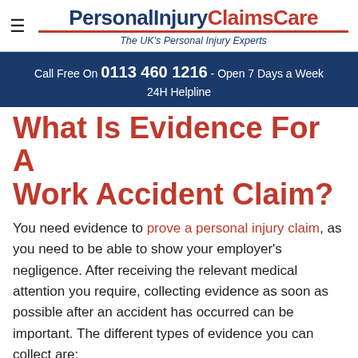PersonalInjuryClaimsCare — The UK's Personal Injury Experts
Call Free On 0113 460 1216 - Open 7 Days a Week 24H Helpline
What Is Evidence For A Work Accident Claim?
You need evidence to prove a personal injury claim, as you need to be able to show your employer's negligence. After receiving the relevant medical attention you require, collecting evidence as soon as possible after an accident has occurred can be important. The different types of evidence you can collect are:
Medical records – Show the date...